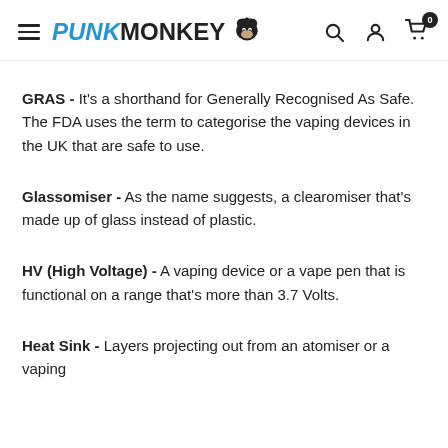PUNKMONKEY [logo] — navigation header with search, account, and cart icons
GRAS - It's a shorthand for Generally Recognised As Safe. The FDA uses the term to categorise the vaping devices in the UK that are safe to use.
Glassomiser - As the name suggests, a clearomiser that's made up of glass instead of plastic.
HV (High Voltage) - A vaping device or a vape pen that is functional on a range that's more than 3.7 Volts.
Heat Sink - Layers projecting out from an atomiser or a vaping